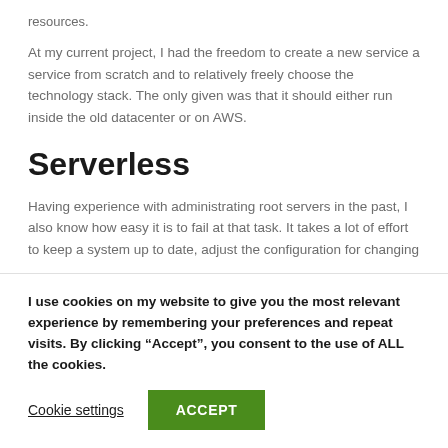resources.
At my current project, I had the freedom to create a new service a service from scratch and to relatively freely choose the technology stack. The only given was that it should either run inside the old datacenter or on AWS.
Serverless
Having experience with administrating root servers in the past, I also know how easy it is to fail at that task. It takes a lot of effort to keep a system up to date, adjust the configuration for changing
I use cookies on my website to give you the most relevant experience by remembering your preferences and repeat visits. By clicking “Accept”, you consent to the use of ALL the cookies.
Cookie settings   ACCEPT